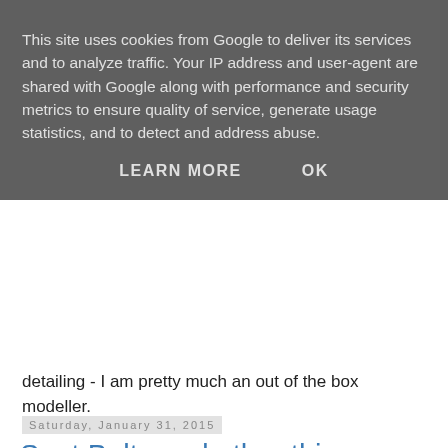This site uses cookies from Google to deliver its services and to analyze traffic. Your IP address and user-agent are shared with Google along with performance and security metrics to ensure quality of service, generate usage statistics, and to detect and address abuse.
LEARN MORE   OK
detailing - I am pretty much an out of the box modeller.
Saturday, January 31, 2015
Seat Belts and other things
Firstly, I had a bit of a disaster. I had to decant some more metallic blue yesterday. I thought that I had left it long enough for the propellant to disperse but... I opened the bottle this morning and it blew everywhere, including over the bonnet of the Cobra! So, I have had to re-do the whole front of the car. Unfortunately, one of the things that got covered is the white circle with the racing number on it. Remember that I was very pleased to have obtained these from the Ferrari GTO kit. This means that I am left without a